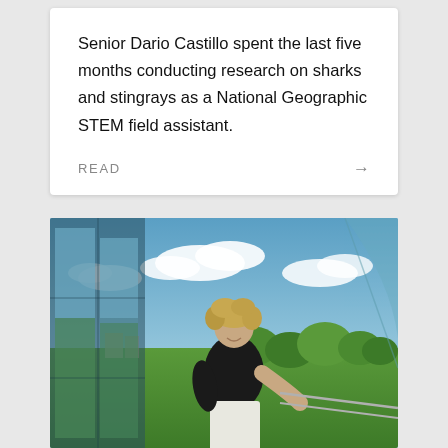Senior Dario Castillo spent the last five months conducting research on sharks and stingrays as a National Geographic STEM field assistant.
READ →
[Figure (photo): A young woman with short curly blonde hair, wearing a black t-shirt and white jeans, standing on a high-rise building balcony or glass-enclosed terrace. She is smiling and leaning on a railing. Behind her is a panoramic view of a green campus/suburban area with trees and buildings under a blue sky with white clouds. The building has floor-to-ceiling glass walls reflecting the scenery.]